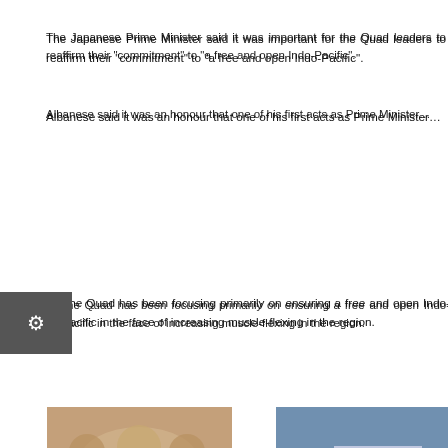The Japanese Prime Minister said it was important for the Quad leaders to reaffirm their commitment" to "a free and open Indo-Pacific".
Albanese said it was an honour that one of his first acts as Prime Minister was to attend the Quad summit.
The Quad has been focusing primarily on ensuring a free and open Indo-Pacific in the face of increasing muscle-flexing in the region.
In line with its long-term vision for the region, Biden on Monday launched the Indo-Pacific Economic Framework for Prosperity (IPEF), which is an initiative aimed at deepening cooperation among countries in areas like clean energy, supply-chain resilience and digital trade.
[Figure (photo): Group photo of leaders at Quad summit]
[Figure (photo): Naval vessels in the Indo-Pacific region]
PREVIOUS ARTICLE
NEXT ARTICLE
The rollout of the IPEF is expected to send across a signal that the US has a comprehensive economic policy for the region to counter China's aggressive strategy on trade.
Attending the event to launch the IPEF, Modi said that the announcement reflected the collective desire to make the Indo-Pacific region an engine of global economic activity.
The Indian Prime Minister also called for finding common and creative solutions to the challenges of the Indo-Pacific region.